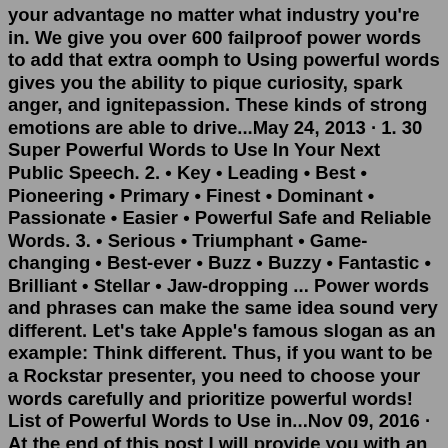your advantage no matter what industry you're in. We give you over 600 failproof power words to add that extra oomph to Using powerful words gives you the ability to pique curiosity, spark anger, and ignitepassion. These kinds of strong emotions are able to drive...May 24, 2013 · 1. 30 Super Powerful Words to Use In Your Next Public Speech. 2. • Key • Leading • Best • Pioneering • Primary • Finest • Dominant • Passionate • Easier • Powerful Safe and Reliable Words. 3. • Serious • Triumphant • Game-changing • Best-ever • Buzz • Buzzy • Fantastic • Brilliant • Stellar • Jaw-dropping ... Power words and phrases can make the same idea sound very different. Let's take Apple's famous slogan as an example: Think different. Thus, if you want to be a Rockstar presenter, you need to choose your words carefully and prioritize powerful words! List of Powerful Words to Use in...Nov 09, 2016 · At the end of this post I will provide you with an opportunity to perform your own Core Values Inventory absolutely FREE. In reverse order, here are my Top 10 Powerful Words: